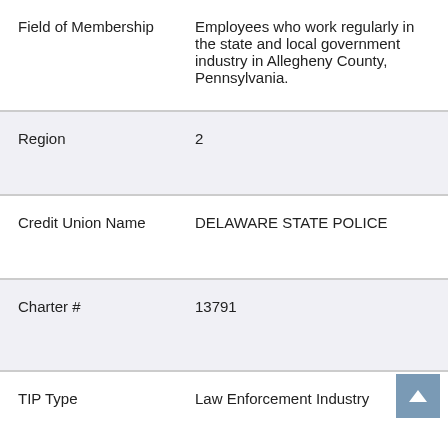| Field | Value |
| --- | --- |
| Field of Membership | Employees who work regularly in the state and local government industry in Allegheny County, Pennsylvania. |
| Region | 2 |
| Credit Union Name | DELAWARE STATE POLICE |
| Charter # | 13791 |
| TIP Type | Law Enforcement Industry |